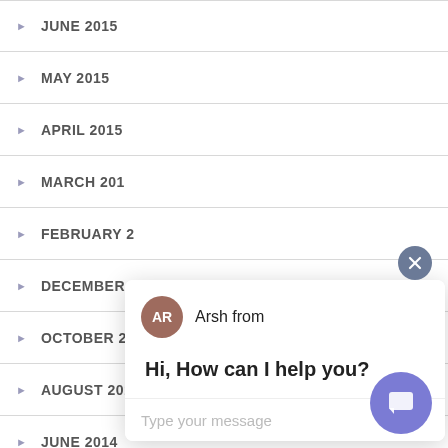JUNE 2015
MAY 2015
APRIL 2015
MARCH 2015
FEBRUARY 2
DECEMBER 2
OCTOBER 2014
AUGUST 2014
JUNE 2014
[Figure (screenshot): Chat popup with agent avatar 'AR' (Arsh from), message 'Hi, How can I help you?', and a text input field 'Type your message' with a send arrow. A close (x) button appears top-right of the popup. A purple chat launcher button appears at bottom-right of page.]